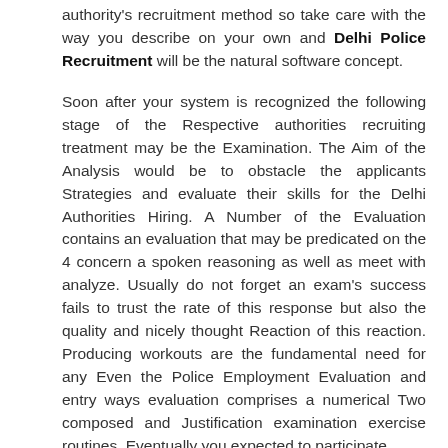authority's recruitment method so take care with the way you describe on your own and Delhi Police Recruitment will be the natural software concept.
Soon after your system is recognized the following stage of the Respective authorities recruiting treatment may be the Examination. The Aim of the Analysis would be to obstacle the applicants Strategies and evaluate their skills for the Delhi Authorities Hiring. A Number of the Evaluation contains an evaluation that may be predicated on the 4 concern a spoken reasoning as well as meet with analyze. Usually do not forget an exam's success fails to trust the rate of this response but also the quality and nicely thought Reaction of this reaction. Producing workouts are the fundamental need for any Even the Police Employment Evaluation and entry ways evaluation comprises a numerical Two composed and Justification examination exercise routines. Eventually you expected to participate.